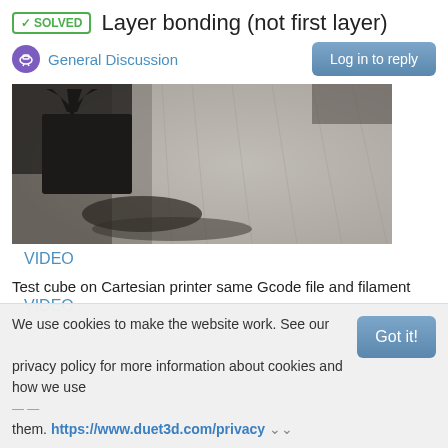✓SOLVED  Layer bonding (not first layer)
General Discussion
[Figure (photo): Close-up photo of a 3D printed test cube showing layer bonding issues, with dark filament strands visible against a grey textured surface]
VIDEO
Test cube on Cartesian printer same Gcode file and filament
VIDEO
We use cookies to make the website work. See our privacy policy for more information about cookies and how we use them. https://www.duet3d.com/privacy